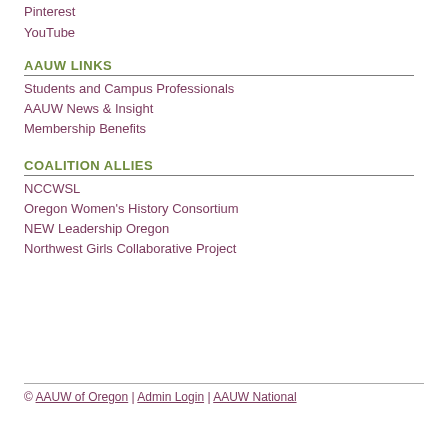Pinterest
YouTube
AAUW LINKS
Students and Campus Professionals
AAUW News & Insight
Membership Benefits
COALITION ALLIES
NCCWSL
Oregon Women's History Consortium
NEW Leadership Oregon
Northwest Girls Collaborative Project
© AAUW of Oregon | Admin Login | AAUW National